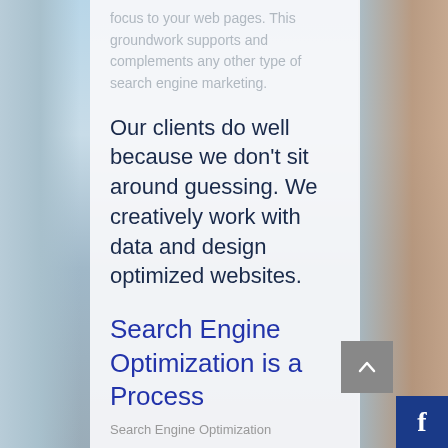focus to your web pages. This groundwork supports and complements any other type of search engine marketing.
Our clients do well because we don't sit around guessing. We creatively work with data and design optimized websites.
Search Engine Optimization is a Process
Search Engine Optimization